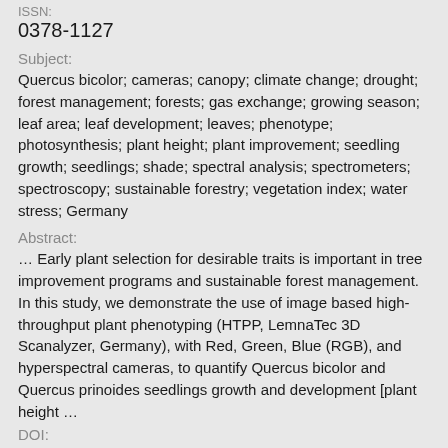ISSN:
0378-1127
Subject:
Quercus bicolor; cameras; canopy; climate change; drought; forest management; forests; gas exchange; growing season; leaf area; leaf development; leaves; phenotype; photosynthesis; plant height; plant improvement; seedling growth; seedlings; shade; spectral analysis; spectrometers; spectroscopy; sustainable forestry; vegetation index; water stress; Germany
Abstract:
… Early plant selection for desirable traits is important in tree improvement programs and sustainable forest management. In this study, we demonstrate the use of image based high-throughput plant phenotyping (HTPP, LemnaTec 3D Scanalyzer, Germany), with Red, Green, Blue (RGB), and hyperspectral cameras, to quantify Quercus bicolor and Quercus prinoides seedlings growth and development [plant height …
DOI: